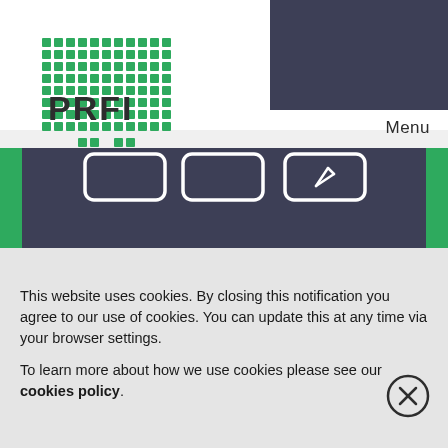[Figure (logo): PRFI logo with green pixel/dot grid pattern above and around the text PRFI]
Menu
[Figure (illustration): Dark navy blue rectangular illustration with green border, showing three card/tab shapes at the top with white outlines, and a green accent block at lower left]
This website uses cookies. By closing this notification you agree to our use of cookies. You can update this at any time via your browser settings.
To learn more about how we use cookies please see our cookies policy.